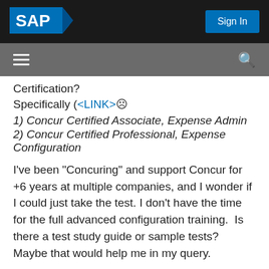[Figure (logo): SAP logo — white text 'SAP' on blue/dark background with chevron shape]
Sign In
Navigation bar with hamburger menu and search icon
Certification?
Specifically (<LINK>☹
1) Concur Certified Associate, Expense Admin
2) Concur Certified Professional, Expense Configuration
I've been "Concuring" and support Concur for +6 years at multiple companies, and I wonder if I could just take the test. I don't have the time for the full advanced configuration training.  Is there a test study guide or sample tests? Maybe that would help me in my query.
Thanks in advance